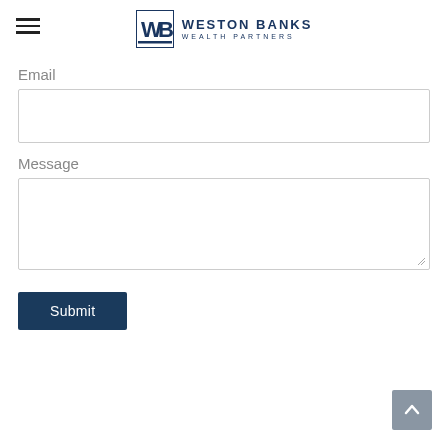WESTON BANKS WEALTH PARTNERS
Email
Message
Submit